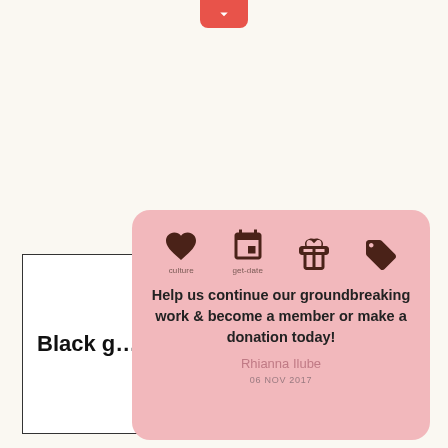[Figure (infographic): Red rounded button with white downward chevron/arrow icon at top center of page]
[Figure (screenshot): White bordered article card on left showing bold text 'Black g...' (article title partially visible)]
[Figure (infographic): Pink rounded popup overlay with four brown icons (heart, calendar, gift, tag), a bold call-to-action message, author name 'Rhianna Ilube', and date '06 NOV 2017']
Help us continue our groundbreaking work & become a member or make a donation today!
Rhianna Ilube
06 NOV 2017